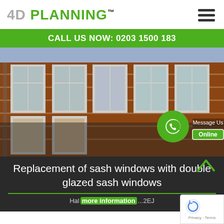4D PLANNING™
CALL US NOW: 0203 1500 183
[Figure (photo): Photograph of a red brick building facade with white-framed sash windows on two floors]
Replacement of sash windows with double glazed sash windows
Hal... ...2EJ
more information
[Figure (other): reCAPTCHA badge with logo and Privacy · Terms text]